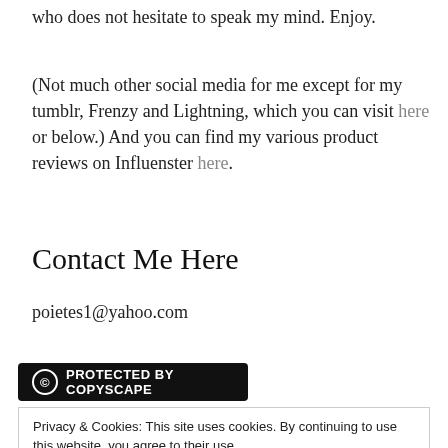who does not hesitate to speak my mind. Enjoy.
(Not much other social media for me except for my tumblr, Frenzy and Lightning, which you can visit here or below.) And you can find my various product reviews on Influenster here.
Contact Me Here
poietes1@yahoo.com
[Figure (other): Protected by Copyscape badge — black rounded rectangle with copyright circle icon and bold white text 'PROTECTED BY COPYSCAPE']
Privacy & Cookies: This site uses cookies. By continuing to use this website, you agree to their use.
To find out more, including how to control cookies, see here: Cookie Policy
[Close and accept button]
be linked to other blogs or websites.